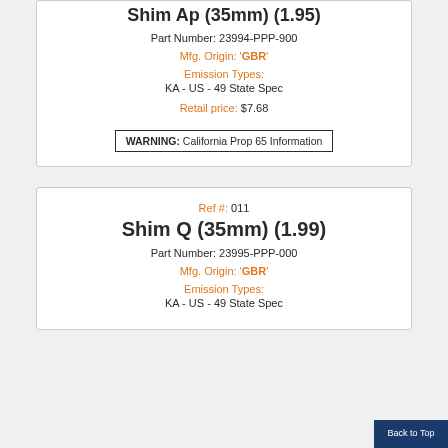Shim Ap (35mm) (1.95)
Part Number: 23994-PPP-900
Mfg. Origin: 'GBR'
Emission Types:
KA - US - 49 State Spec
Retail price: $7.68
WARNING: California Prop 65 Information
Ref #: 011
Shim Q (35mm) (1.99)
Part Number: 23995-PPP-000
Mfg. Origin: 'GBR'
Emission Types:
KA - US - 49 State Spec